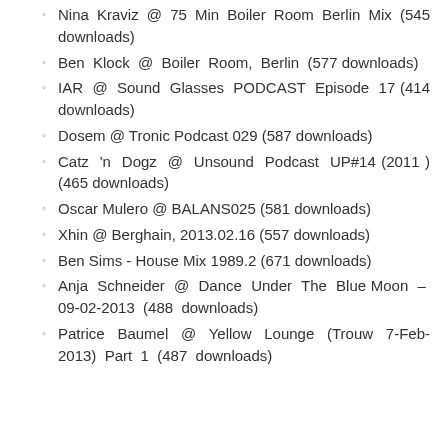Nina Kraviz @ 75 Min Boiler Room Berlin Mix (545 downloads)
Ben Klock @ Boiler Room, Berlin (577 downloads)
IAR @ Sound Glasses PODCAST Episode 17 (414 downloads)
Dosem @ Tronic Podcast 029 (587 downloads)
Catz 'n Dogz @ Unsound Podcast UP#14 (2011 ) (465 downloads)
Oscar Mulero @ BALANS025 (581 downloads)
Xhin @ Berghain, 2013.02.16 (557 downloads)
Ben Sims - House Mix 1989.2 (671 downloads)
Anja Schneider @ Dance Under The Blue Moon – 09-02-2013 (488 downloads)
Patrice Baumel @ Yellow Lounge (Trouw 7-Feb-2013) Part 1 (487 downloads)